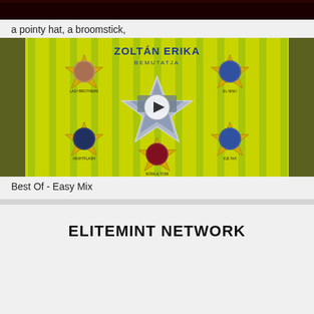[Figure (photo): Dark/black top strip image, partially visible]
a pointy hat, a broomstick,
[Figure (photo): Album cover for 'Best Of - Easy Mix' by Zoltán Erika, showing a green/yellow tie-dye background with a large silver star in the center, surrounded by five smaller star-badge portraits of musicians. A play button overlay is visible in the center of the star.]
Best Of - Easy Mix
ELITEMINT NETWORK